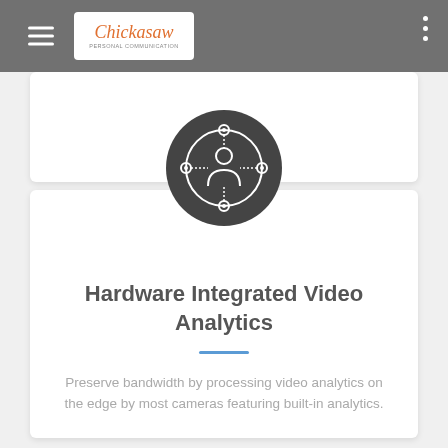[Figure (logo): Chickasaw logo with orange italic text and subtitle 'Personal Communication' on a white background, inside a grey navigation bar with hamburger menu icon on left and three-dot menu on right]
[Figure (illustration): Dark grey circular icon showing a person/user silhouette connected to nodes in a network, representing video analytics]
Hardware Integrated Video Analytics
Preserve bandwidth by processing video analytics on the edge by most cameras featuring built-in analytics.